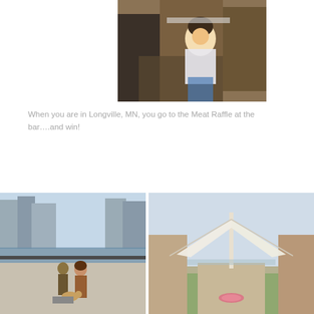[Figure (photo): A woman in a white top celebrating at a bar, holding up what appears to be a tray with meat from a raffle win. Bar setting with wooden furniture visible.]
When you are in Longville, MN, you go to the Meat Raffle at the bar….and win!
[Figure (photo): A woman posing with a bronze statue of a man and a beagle dog, with a city river and buildings in the background.]
[Figure (photo): The Milwaukee Art Museum exterior, showing the distinctive white wing-like Quadracci Pavilion structure against a light sky, with a flower arrangement in the foreground grass.]